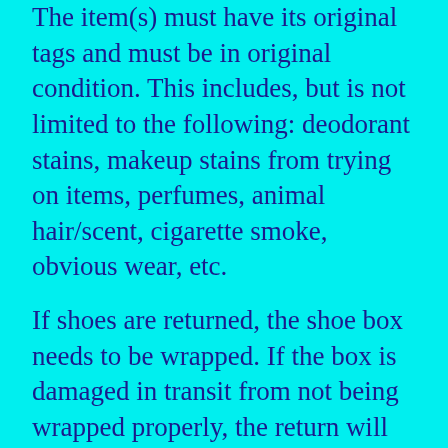The item(s) must have its original tags and must be in original condition. This includes, but is not limited to the following: deodorant stains, makeup stains from trying on items, perfumes, animal hair/scent, cigarette smoke, obvious wear, etc.
If shoes are returned, the shoe box needs to be wrapped. If the box is damaged in transit from not being wrapped properly, the return will not be accepted.
Items meeting the above criteria will be issued a store credit.
Sale items cannot be returned. All sales are final on clearance.
Swimwear and bodysuits are final sale.